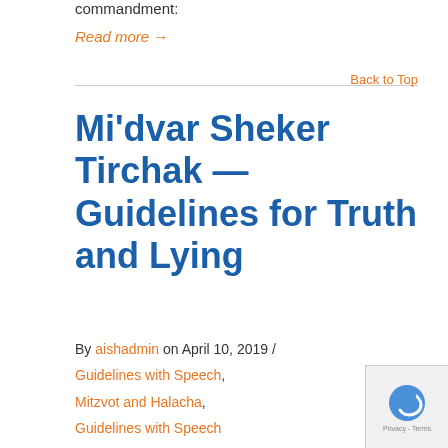commandment:
Read more →
Back to Top
Mi'dvar Sheker Tirchak — Guidelines for Truth and Lying
By aishadmin on April 10, 2019 / Guidelines with Speech, Mitzvot and Halacha, Guidelines with Speech